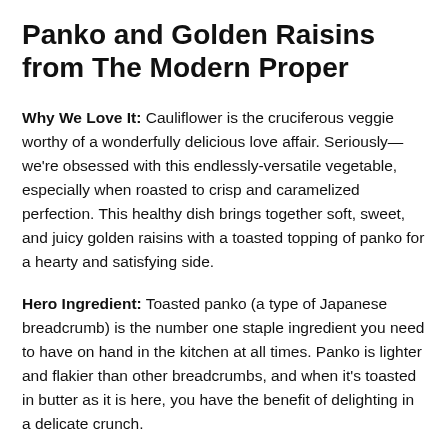Panko and Golden Raisins from The Modern Proper
Why We Love It: Cauliflower is the cruciferous veggie worthy of a wonderfully delicious love affair. Seriously—we're obsessed with this endlessly-versatile vegetable, especially when roasted to crisp and caramelized perfection. This healthy dish brings together soft, sweet, and juicy golden raisins with a toasted topping of panko for a hearty and satisfying side.
Hero Ingredient: Toasted panko (a type of Japanese breadcrumb) is the number one staple ingredient you need to have on hand in the kitchen at all times. Panko is lighter and flakier than other breadcrumbs, and when it's toasted in butter as it is here, you have the benefit of delighting in a delicate crunch.